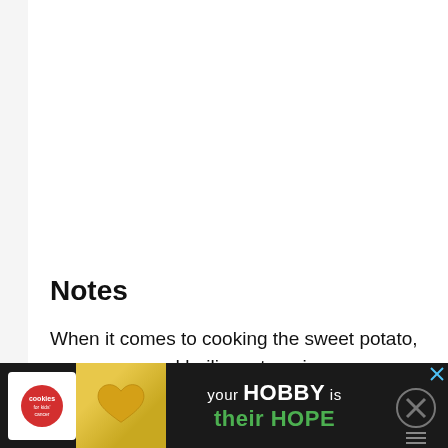Notes
When it comes to cooking the sweet potato, we recommend boiling, steaming or pressure cooking without any added seasoning. The sweet potato is sweet enough as is and will later be combine with other flavour enhancers
[Figure (photo): Advertisement banner at the bottom: Cookies for Kids' Cancer charity ad showing a heart-shaped cookie, with text 'your HOBBY is their HOPE' on dark background, with close buttons]